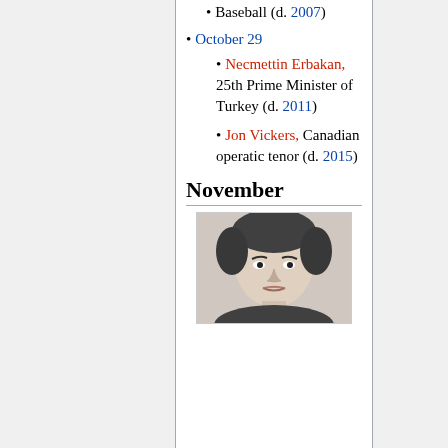Baseball (d. 2007)
October 29
Necmettin Erbakan, 25th Prime Minister of Turkey (d. 2011)
Jon Vickers, Canadian operatic tenor (d. 2015)
November
[Figure (photo): Black and white portrait photo of a woman with short hair]